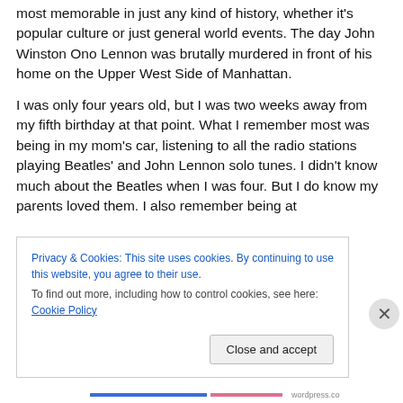most memorable in just any kind of history, whether it's popular culture or just general world events.  The day John Winston Ono Lennon was brutally murdered in front of his home on the Upper West Side of Manhattan.
I was only four years old, but I was two weeks away from my fifth birthday at that point.  What I remember most was being in my mom's car, listening to all the radio stations playing Beatles' and John Lennon solo tunes.  I didn't know much about the Beatles when I was four.  But I do know my parents loved them.  I also remember being at
Privacy & Cookies: This site uses cookies. By continuing to use this website, you agree to their use.
To find out more, including how to control cookies, see here: Cookie Policy
Close and accept